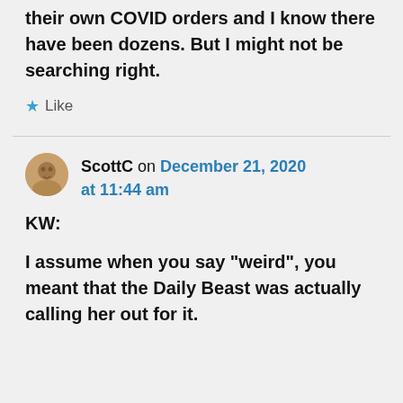their own COVID orders and I know there have been dozens. But I might not be searching right.
Like
ScottC on December 21, 2020 at 11:44 am
KW:

I assume when you say “weird”, you meant that the Daily Beast was actually calling her out for it.